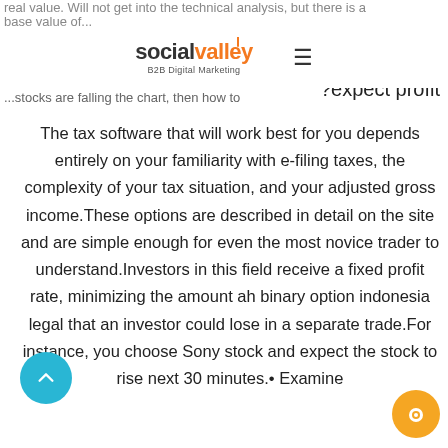social valley B2B Digital Marketing
real value. Will not get into the technical analysis, but there is a base value of ...stocks are falling the chart, then how to expect profit?
The tax software that will work best for you depends entirely on your familiarity with e-filing taxes, the complexity of your tax situation, and your adjusted gross income.These options are described in detail on the site and are simple enough for even the most novice trader to understand.Investors in this field receive a fixed profit rate, minimizing the amount ah binary option indonesia legal that an investor could lose in a separate trade.For instance, you choose Sony stock and expect the stock to rise next 30 minutes.• Examine...